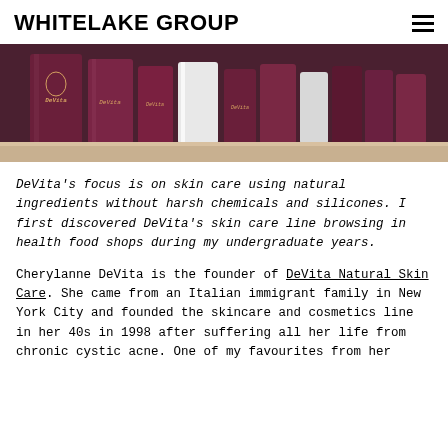WHITELAKE GROUP
[Figure (photo): Shelf displaying DeVita branded skincare product bottles in dark maroon/purple packaging alongside white containers.]
DeVita's focus is on skin care using natural ingredients without harsh chemicals and silicones. I first discovered DeVita's skin care line browsing in health food shops during my undergraduate years.
Cherylanne DeVita is the founder of DeVita Natural Skin Care. She came from an Italian immigrant family in New York City and founded the skincare and cosmetics line in her 40s in 1998 after suffering all her life from chronic cystic acne. One of my favourites from her